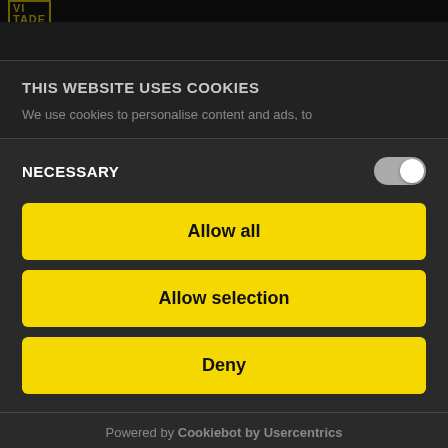VÍTADE
THIS WEBSITE USES COOKIES
We use cookies to personalise content and ads, to
NECESSARY
Allow all
Allow selection
Deny
Powered by Cookiebot by Usercentrics
The two riders rode together in the breakaway for much of